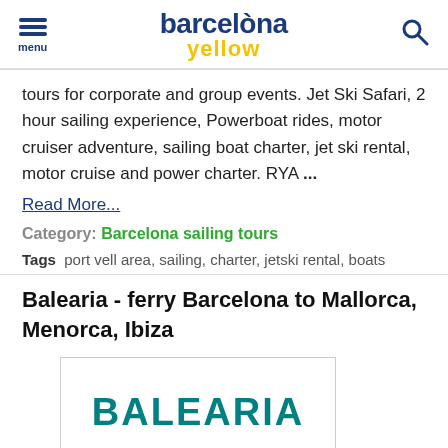menu | barcelona yellow | search
tours for corporate and group events. Jet Ski Safari, 2 hour sailing experience, Powerboat rides, motor cruiser adventure, sailing boat charter, jet ski rental, motor cruise and power charter. RYA ...
Read More...
Category: Barcelona sailing tours
Tags  port vell area, sailing, charter, jetski rental, boats
Balearia - ferry Barcelona to Mallorca, Menorca, Ibiza
[Figure (logo): BALEARIA logo in teal/green color on white background inside a bordered box]